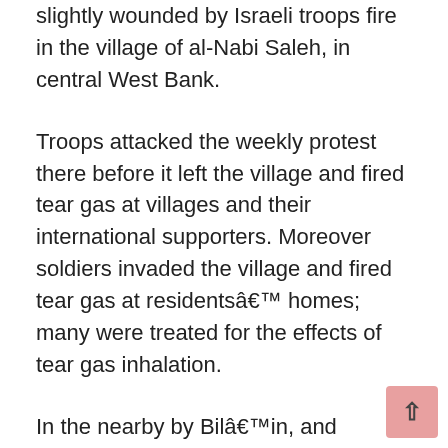slightly wounded by Israeli troops fire in the village of al-Nabi Saleh, in central West Bank.
Troops attacked the weekly protest there before it left the village and fired tear gas at villages and their international supporters. Moreover soldiers invaded the village and fired tear gas at residentsâ€™ homes; many were treated for the effects of tear gas inhalation.
In the nearby by Bilâ€™in, and Nilâ€™in villages many were treated for the effects of tear gas inhalation when troops fired tear gas at them as they protest at the Israeli wall built on local farmers lands there.
In southern West Bank villages of al-Maâ€™sara, , Beit Omer, Yatta and Beit Ola,